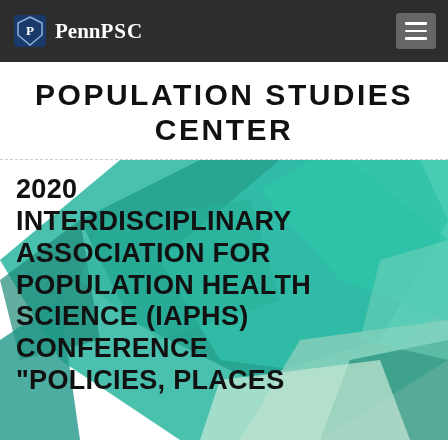Penn PSC
POPULATION STUDIES CENTER
[Figure (illustration): Abstract geometric polygon background in teal and green tones with overlapping triangular shapes]
2020 INTERDISCIPLINARY ASSOCIATION FOR POPULATION HEALTH SCIENCE (IAPHS) CONFERENCE "POLICIES, PLACES